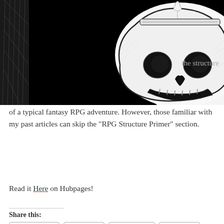[Figure (illustration): Black and white illustration of a skull with a candle-like flame rising from the top of its head, set against a black background with a textured dark element on the left side.]
the structure of a typical fantasy RPG adventure. However, those familiar with my past articles can skip the “RPG Structure Primer” section.
Read it Here on Hubpages!
Share this:
Facebook  Reddit  LinkedIn  Tumblr  Twitter  Pinterest